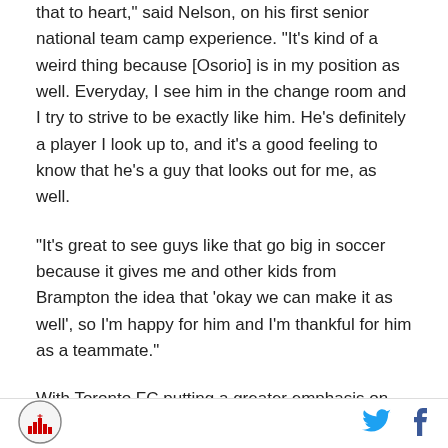that to heart," said Nelson, on his first senior national team camp experience. “It’s kind of a weird thing because [Osorio] is in my position as well. Everyday, I see him in the change room and I try to strive to be exactly like him. He’s definitely a player I look up to, and it’s a good feeling to know that he’s a guy that looks out for me, as well.
“It’s great to see guys like that go big in soccer because it gives me and other kids from Brampton the idea that ‘okay we can make it as well’, so I’m happy for him and I’m thankful for him as a teammate.”
With Toronto FC putting a greater emphasis on Homegrown Signings in 2020, the best example for
[Figure (logo): Circular logo with city skyline and cross design]
[Figure (logo): Twitter bird icon in blue]
[Figure (logo): Facebook f icon in dark blue]